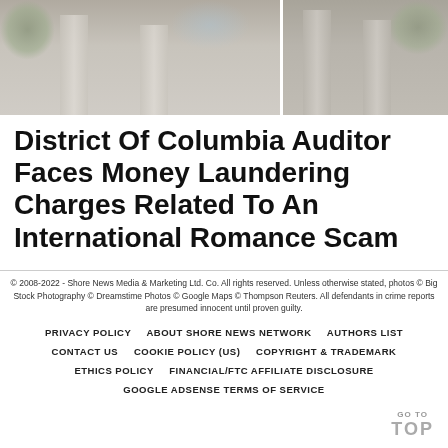[Figure (photo): Photograph of a neoclassical building with large stone columns, split into two panels showing different angles, with trees visible in the background and blue sky.]
District Of Columbia Auditor Faces Money Laundering Charges Related To An International Romance Scam
© 2008-2022 - Shore News Media & Marketing Ltd. Co. All rights reserved. Unless otherwise stated, photos © Big Stock Photography © Dreamstime Photos © Google Maps © Thompson Reuters. All defendants in crime reports are presumed innocent until proven guilty.
PRIVACY POLICY   ABOUT SHORE NEWS NETWORK   AUTHORS LIST   CONTACT US   COOKIE POLICY (US)   COPYRIGHT & TRADEMARK   ETHICS POLICY   FINANCIAL/FTC AFFILIATE DISCLOSURE   GOOGLE ADSENSE TERMS OF SERVICE